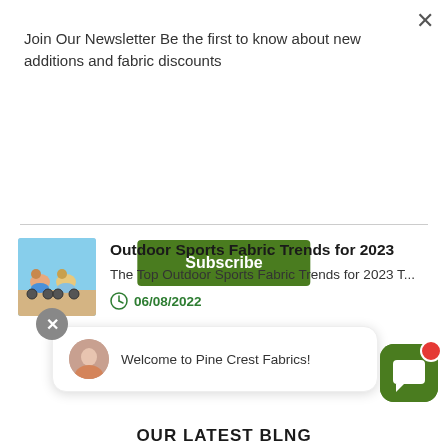Join Our Newsletter Be the first to know about new additions and fabric discounts
Subscribe
[Figure (illustration): Thumbnail image of people on bicycles outdoors]
Outdoor Sports Fabric Trends for 2023
The Top Outdoor Sports Fabric Trends for 2023 T...
06/08/2022
Welcome to Pine Crest Fabrics!
OUR LATEST BLNS